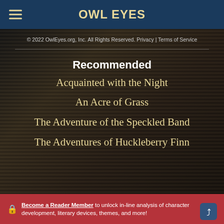OWL EYES
© 2022 OwlEyes.org, Inc. All Rights Reserved. Privacy | Terms of Service
Recommended
Acquainted with the Night
An Acre of Grass
The Adventure of the Speckled Band
The Adventures of Huckleberry Finn
Become a Reader Member to unlock in-line analysis of character development, literary devices, themes, and more!